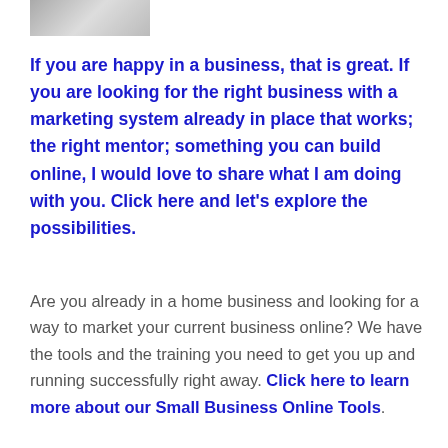[Figure (photo): Partial image of a person or object cropped at the top of the page]
If you are happy in a business, that is great. If you are looking for the right business with a marketing system already in place that works; the right mentor; something you can build online, I would love to share what I am doing with you. Click here and let's explore the possibilities.
Are you already in a home business and looking for a way to market your current business online? We have the tools and the training you need to get you up and running successfully right away. Click here to learn more about our Small Business Online Tools.